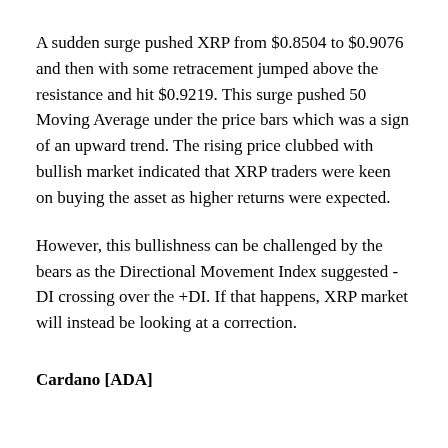A sudden surge pushed XRP from $0.8504 to $0.9076 and then with some retracement jumped above the resistance and hit $0.9219. This surge pushed 50 Moving Average under the price bars which was a sign of an upward trend. The rising price clubbed with bullish market indicated that XRP traders were keen on buying the asset as higher returns were expected.
However, this bullishness can be challenged by the bears as the Directional Movement Index suggested -DI crossing over the +DI. If that happens, XRP market will instead be looking at a correction.
Cardano [ADA]